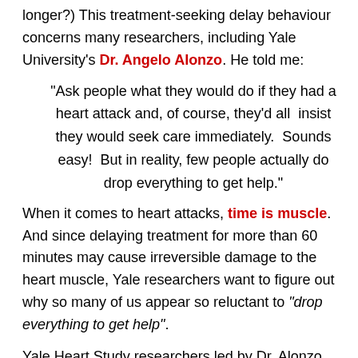longer?)  This treatment-seeking delay behaviour concerns many researchers, including Yale University's Dr. Angelo Alonzo. He told me:
“Ask people what they would do if they had a heart attack and, of course, they’d all  insist they would seek care immediately.  Sounds easy!  But in reality, few people actually do drop everything to get help.”
When it comes to heart attacks, time is muscle.  And since delaying treatment for more than 60 minutes may cause irreversible damage to the heart muscle, Yale researchers want to figure out why so many of us appear so reluctant to “drop everything to get help”.
Yale Heart Study researchers led by Dr. Alonzo, the study’s principal investigator, developed an online, self-